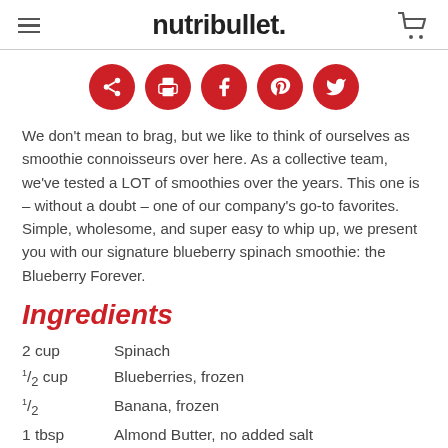nutribullet.
[Figure (infographic): Row of five red circular social sharing buttons: share, print, Facebook, Pinterest, Twitter]
We don't mean to brag, but we like to think of ourselves as smoothie connoisseurs over here. As a collective team, we've tested a LOT of smoothies over the years. This one is – without a doubt – one of our company's go-to favorites. Simple, wholesome, and super easy to whip up, we present you with our signature blueberry spinach smoothie: the Blueberry Forever.
Ingredients
2 cup   Spinach
1/2 cup   Blueberries, frozen
1/2   Banana, frozen
1 tbsp   Almond Butter, no added salt